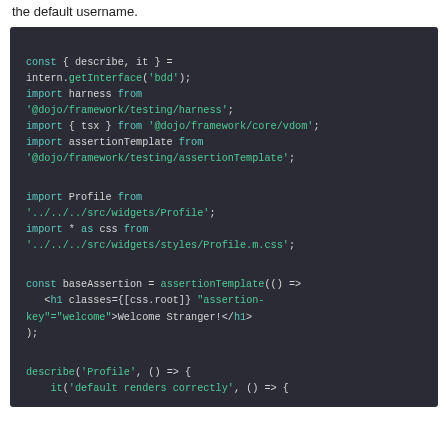the default username.
[Figure (screenshot): Dark-background code block showing JavaScript/TypeScript test file imports and setup code using intern BDD interface, harness, tsx, assertionTemplate, Profile widget, CSS module, baseAssertion template, and describe/it block stubs.]